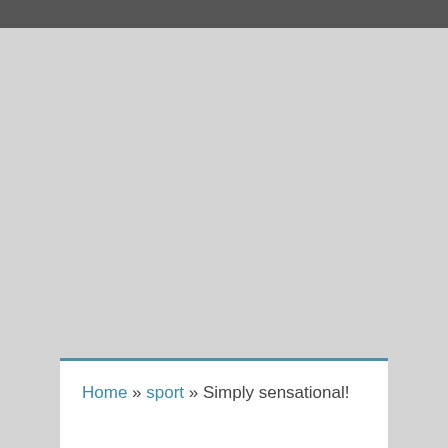Home » sport » Simply sensational!